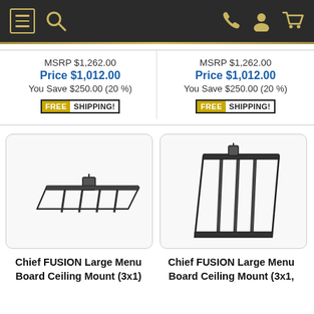Navigation header with menu, search, phone, account, and cart icons
MSRP $1,262.00
Price $1,012.00
You Save $250.00 (20 %)
[Figure (infographic): FREE SHIPPING! badge]
MSRP $1,262.00
Price $1,012.00
You Save $250.00 (20 %)
[Figure (infographic): FREE SHIPPING! badge]
[Figure (photo): Chief FUSION Large Menu Board Ceiling Mount (3x1) product image showing horizontal mount]
[Figure (photo): Chief FUSION Large Menu Board Ceiling Mount (3x1) product image showing vertical mount]
Chief FUSION Large Menu Board Ceiling Mount (3x1)
Chief FUSION Large Menu Board Ceiling Mount (3x1,